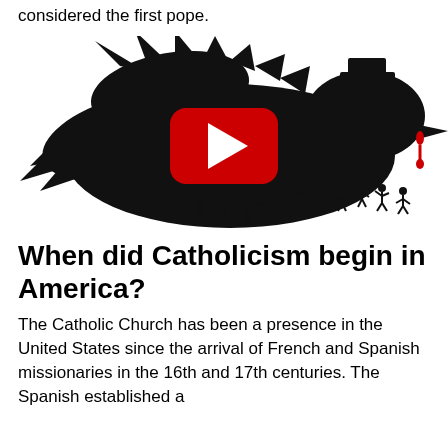considered the first pope.
[Figure (illustration): Black silhouette illustration of a large predatory bird (eagle-like) looming over small human figures, with a red YouTube play button overlay in the center.]
When did Catholicism begin in America?
The Catholic Church has been a presence in the United States since the arrival of French and Spanish missionaries in the 16th and 17th centuries. The Spanish established a